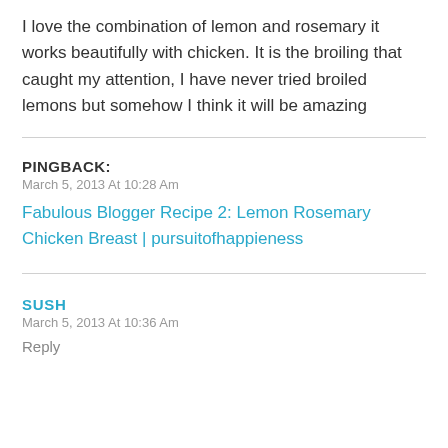I love the combination of lemon and rosemary it works beautifully with chicken. It is the broiling that caught my attention, I have never tried broiled lemons but somehow I think it will be amazing
PINGBACK:
March 5, 2013 At 10:28 Am
Fabulous Blogger Recipe 2: Lemon Rosemary Chicken Breast | pursuitofhappieness
SUSH
March 5, 2013 At 10:36 Am
Reply